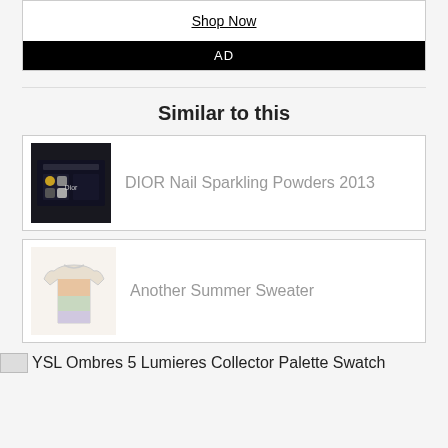[Figure (other): Advertisement box with 'Shop Now' link and black 'AD' label at bottom]
Similar to this
[Figure (photo): DIOR Nail Sparkling Powders 2013 - dark cosmetic palette product image]
DIOR Nail Sparkling Powders 2013
[Figure (photo): Another Summer Sweater - pastel colored sweater product image]
Another Summer Sweater
YSL Ombres 5 Lumieres Collector Palette Swatch